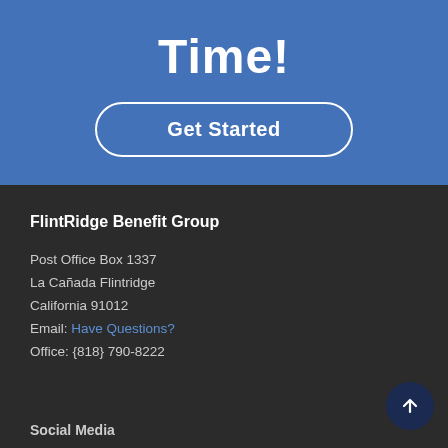Time!
Get Started
FlintRidge Benefit Group
Post Office Box 1337
La Cañada Flintridge
California 91012
Email: Have Questions?
Office: {818} 790-8222
Social Media